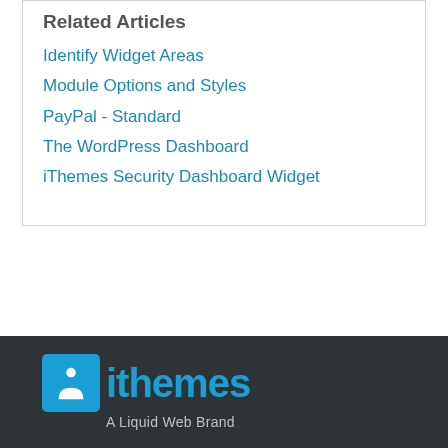Related Articles
Identify Widget Areas
Module Options and Styles
PayPal - Standard
The WordPress Dashboard
iThemes Security Dashboard Widget
ithemes A Liquid Web Brand